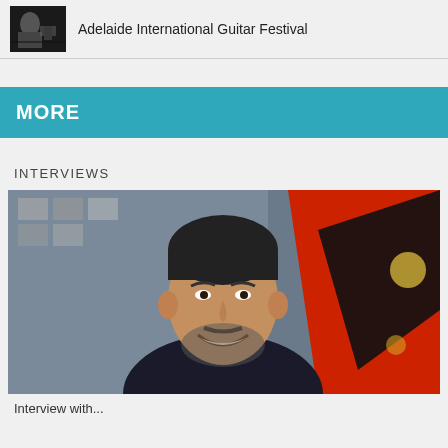[Figure (photo): Black and white photo of a musician, small thumbnail]
Adelaide International Guitar Festival
MORE
INTERVIEWS
[Figure (photo): Portrait photo of a smiling man with beard in dark shirt, colorful background with red and black shapes]
Interview with...